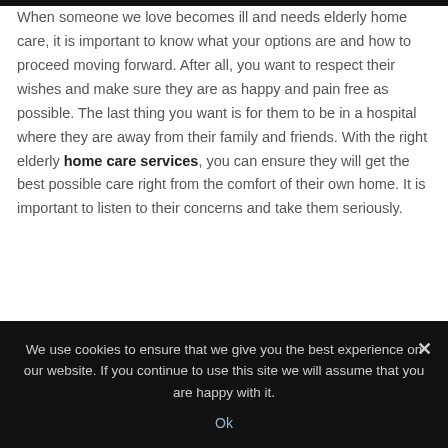When someone we love becomes ill and needs elderly home care, it is important to know what your options are and how to proceed moving forward. After all, you want to respect their wishes and make sure they are as happy and pain free as possible. The last thing you want is for them to be in a hospital where they are away from their family and friends. With the right elderly home care services, you can ensure they will get the best possible care right from the comfort of their own home. It is important to listen to their concerns and take them seriously.
We use cookies to ensure that we give you the best experience on our website. If you continue to use this site we will assume that you are happy with it.